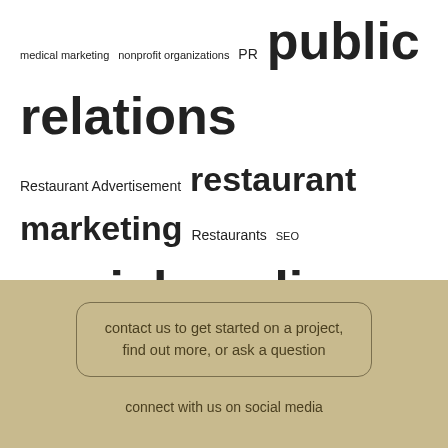medical marketing nonprofit organizations PR public relations Restaurant Advertisement restaurant marketing Restaurants SEO social media social media marketing Staff The Cyphers Agency trade association trade associations web design Website Design website design and development Word of Mouth word of mouth marketing
Search...
contact us to get started on a project, find out more, or ask a question
connect with us on social media